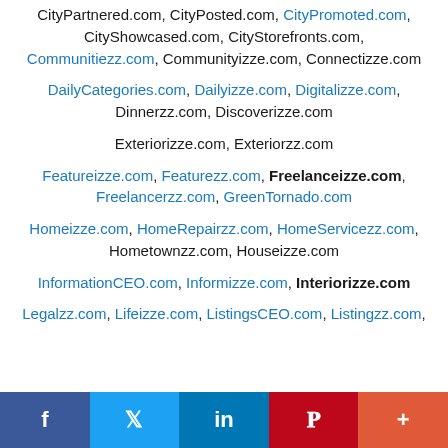CityPartnered.com, CityPosted.com, CityPromoted.com, CityShowcased.com, CityStorefronts.com, Communitiezz.com, Communityizze.com, Connectizze.com
DailyCategories.com, Dailyizze.com, Digitalizze.com, Dinnerzz.com, Discoverizze.com
Exteriorizze.com, Exteriorzz.com
Featureizze.com, Featurezz.com, Freelanceizze.com, Freelancerzz.com, GreenTornado.com
Homeizze.com, HomeRepairzz.com, HomeServicezz.com, Hometownzz.com, Houseizze.com
InformationCEO.com, Informizze.com, Interiorizze.com
Legalzz.com, Lifeizze.com, ListingsCEO.com, Listingzz.com,
f  Twitter  in  Pinterest  +